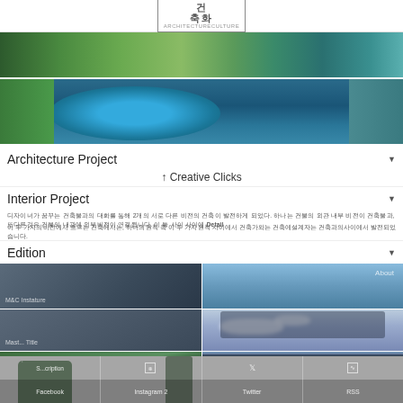건축화 ARCHITECTURECULTURE
[Figure (photo): Aerial view of green landscaped area with pathways]
[Figure (photo): Aerial view of circular blue swimming pool with green surroundings]
Architecture Project
↑ Creative Clicks
Interior Project
Korean text paragraph about interior project details
Detail
Korean text paragraph about detail
Edition
[Figure (photo): Six-panel grid of architectural exterior photos showing building facade and sky]
Subscription | Instagram | Twitter | RSS | Facebook | Instagram 2